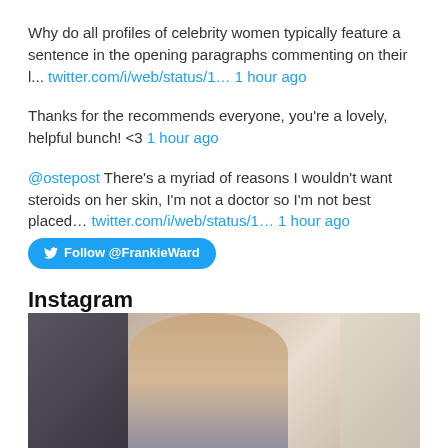Why do all profiles of celebrity women typically feature a sentence in the opening paragraphs commenting on their l... twitter.com/i/web/status/1... 1 hour ago
Thanks for the recommends everyone, you're a lovely, helpful bunch! <3 1 hour ago
@ostepost There's a myriad of reasons I wouldn't want steroids on her skin, I'm not a doctor so I'm not best placed... twitter.com/i/web/status/1... 1 hour ago
Follow @FrankieWard
Instagram
[Figure (photo): A person with curly brown hair taking a mirror selfie with a phone, standing in what appears to be a room with light-colored curtains on the right and dark clothing/bags visible on the left.]